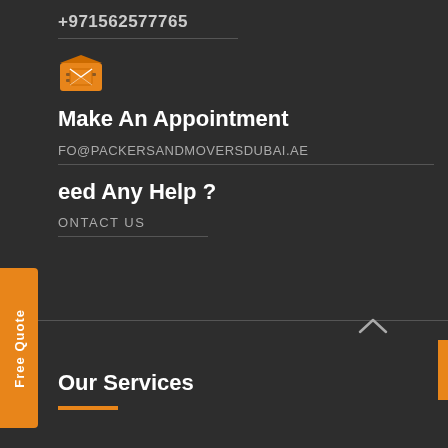+971562577765
[Figure (illustration): Orange email/message envelope icon]
Make An Appointment
FO@PACKERSANDMOVERSDUBAI.AE
eed Any Help ?
ONTACT US
^ (up chevron/caret symbol)
Our Services